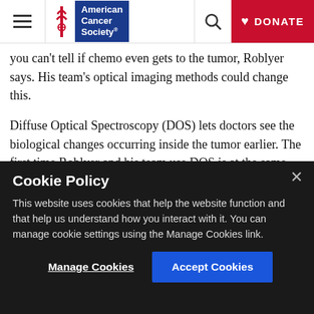American Cancer Society — navigation bar with hamburger menu, logo, search, and DONATE button
you can't tell if chemo even gets to the tumor, Roblyer says. His team's optical imaging methods could change this.
Diffuse Optical Spectroscopy (DOS) lets doctors see the biological changes occurring inside the tumor earlier. The first time Roblyer and his team use DOS is at the same time patients are receiving chemotherapy. They also measure patients during the first week after infusion and at other
Cookie Policy
This website uses cookies that help the website function and that help us understand how you interact with it. You can manage cookie settings using the Manage Cookies link.
Manage Cookies   Accept Cookies